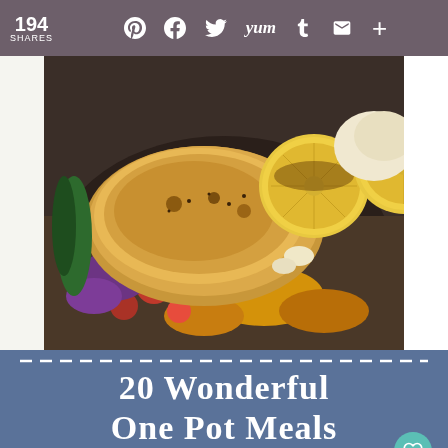194 SHARES
20 Wonderful One Pot Meals
[Figure (photo): Overhead photo of baked chicken with caramelized lemon slices, cherry tomatoes, and roasted vegetables in a dark pan]
[Figure (photo): Grid of three food photos: left - casserole dish with mixed vegetable and chicken bake; center - white bowl with noodle/vegetable stir fry; right - skillet with cheesy baked dish]